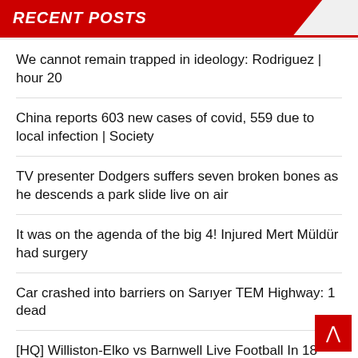RECENT POSTS
We cannot remain trapped in ideology: Rodriguez | hour 20
China reports 603 new cases of covid, 559 due to local infection | Society
TV presenter Dodgers suffers seven broken bones as he descends a park slide live on air
It was on the agenda of the big 4! Injured Mert Müldür had surgery
Car crashed into barriers on Sarıyer TEM Highway: 1 dead
[HQ] Williston-Elko vs Barnwell Live Football In 18